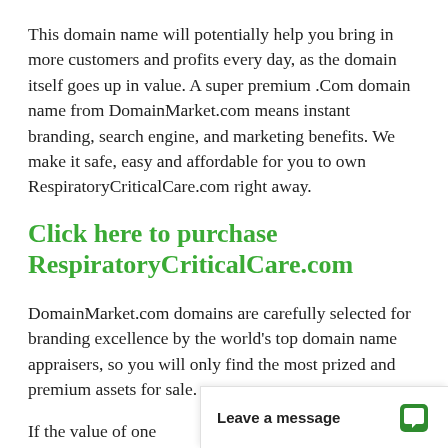This domain name will potentially help you bring in more customers and profits every day, as the domain itself goes up in value. A super premium .Com domain name from DomainMarket.com means instant branding, search engine, and marketing benefits. We make it safe, easy and affordable for you to own RespiratoryCriticalCare.com right away.
Click here to purchase RespiratoryCriticalCare.com
DomainMarket.com domains are carefully selected for branding excellence by the world's top domain name appraisers, so you will only find the most prized and premium assets for sale.
If the value of one new references makes up f
Leave a message